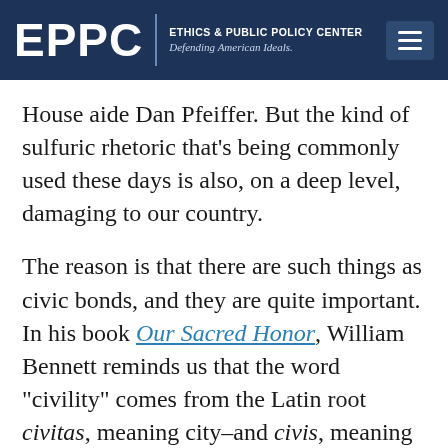EPPC | ETHICS & PUBLIC POLICY CENTER Defending American Ideals.
House aide Dan Pfeiffer. But the kind of sulfuric rhetoric that’s being commonly used these days is also, on a deep level, damaging to our country.
The reason is that there are such things as civic bonds, and they are quite important. In his book Our Sacred Honor, William Bennett reminds us that the word “civility” comes from the Latin root civitas, meaning city–and civis, meaning citizen. “Civility, then,” Bennett writes, “is behavior worthy of citizens living in a city or in common with others.” It uplifts our common life. And how we treat one another goes some